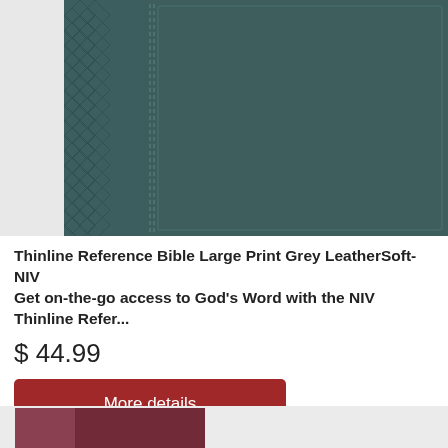[Figure (photo): Grey leathersoft Bible cover with diamond texture pattern on left spine panel and smooth grey surface on right, with stitched detail line separating the two panels]
Thinline Reference Bible Large Print Grey LeatherSoft-NIV
Get on-the-go access to God's Word with the NIV Thinline Refer...
$44.99
More details
[Figure (photo): Partial view of another product at the bottom of the page]